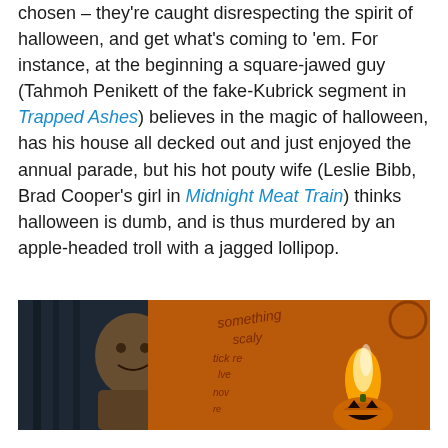chosen – they're caught disrespecting the spirit of halloween, and get what's coming to 'em. For instance, at the beginning a square-jawed guy (Tahmoh Penikett of the fake-Kubrick segment in Trapped Ashes) believes in the magic of halloween, has his house all decked out and just enjoyed the annual parade, but his hot pouty wife (Leslie Bibb, Brad Cooper's girl in Midnight Meat Train) thinks halloween is dumb, and is thus murdered by an apple-headed troll with a jagged lollipop.
[Figure (photo): A dark Halloween-themed scene showing a figure with a sack-like head in silhouette on the left, with orange graffiti writing on the wall behind ('something scaly', etc.) and a glowing jack-o-lantern with flame on the right side.]
Below: Below (the children pistol-whip the picture)...